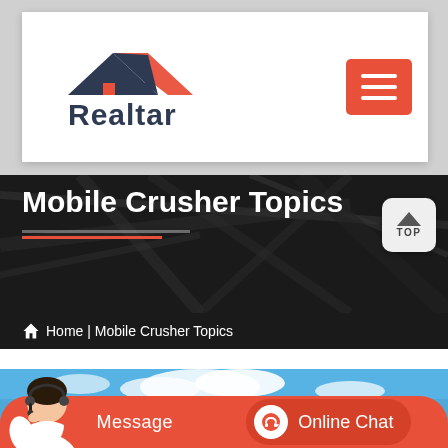Realtar
Mobile Crusher Topics
Home | Mobile Crusher Topics
[Figure (screenshot): Customer service representative with headset on blue sky background, with orange Message and Online Chat buttons]
Message
Online Chat